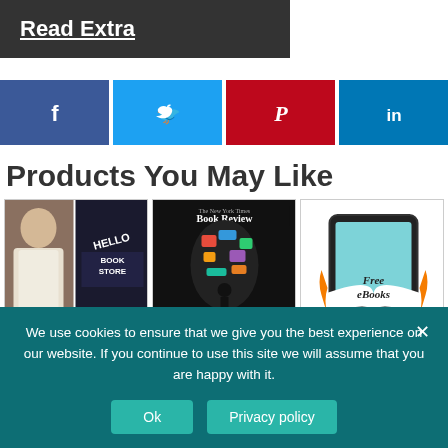Read Extra
[Figure (infographic): Four social share buttons: Facebook (blue), Twitter (light blue), Pinterest (red), LinkedIn (dark blue) with icons f, bird, P, in]
Products You May Like
[Figure (photo): Hello Bookstore book cover showing a man standing in front of a bookstore]
[Figure (photo): New York Times Book Review magazine cover with colorful digital head silhouette]
[Figure (illustration): Free eBooks graphic showing a tablet with an open book and orange book spine]
We use cookies to ensure that we give you the best experience on our website. If you continue to use this site we will assume that you are happy with it.
Ok  Privacy policy